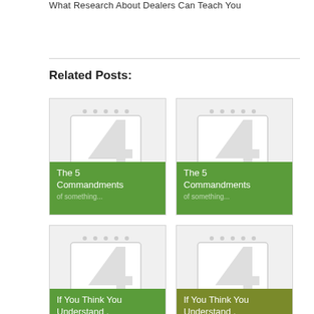What Research About Dealers Can Teach You
Related Posts:
[Figure (illustration): Card 1: Notebook illustration with green overlay text reading 'The 5 Commandments of...']
[Figure (illustration): Card 2: Notebook illustration with green overlay text reading 'The 5 Commandments of...']
[Figure (illustration): Card 3: Notebook illustration with green overlay text reading 'If You Think You Understand , Then This Might...']
[Figure (illustration): Card 4: Notebook illustration with olive overlay text reading 'If You Think You Understand , Then This Might...']